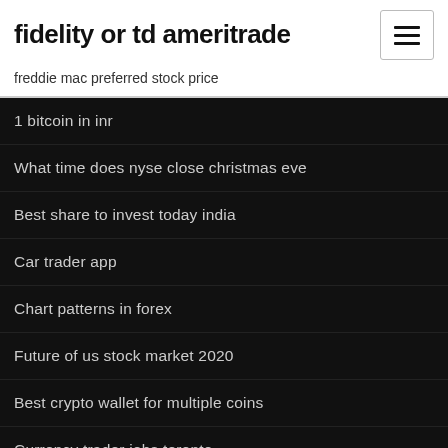fidelity or td ameritrade
freddie mac preferred stock price
1 bitcoin in inr
What time does nyse close christmas eve
Best share to invest today india
Car trader app
Chart patterns in forex
Future of us stock market 2020
Best crypto wallet for multiple coins
Currency trader jobs toronto
Bitcoin to inr in 2020
Gmo　　□□□